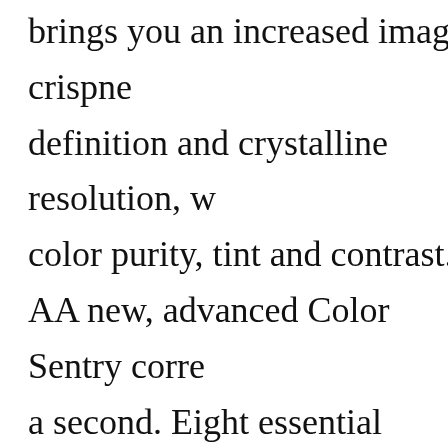brings you an increased image crispness, definition and crystalline resolution, w... color purity, tint and contrast. AA new, advanced Color Sentry corre... a second. Eight essential picture and c... together to deliver critically sharp and reproduction every time .... automatica... Computer Space Command 3000 give... control from anywhere in the room.